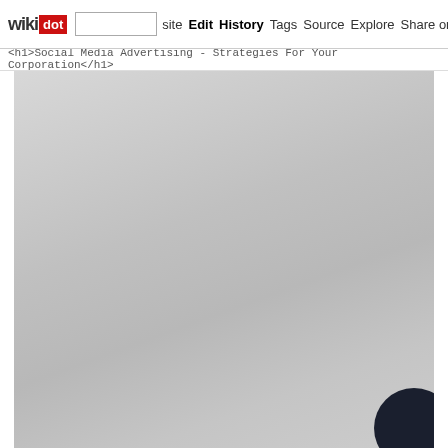wikidot | site | Edit | History | Tags | Source | Explore | Share on [Twitter]
<h1>Social Media Advertising - Strategies For Your Corporation</h1>
[Figure (photo): Large grey gradient image area with a dark circular element in the bottom-right corner, appears to be a screenshot of a Wikidot wiki page for Social Media Advertising.]